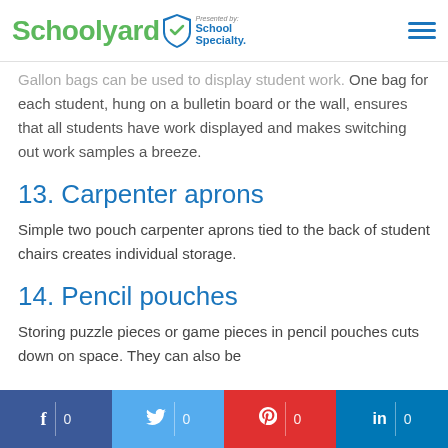Schoolyard Presented by School Specialty
Gallon bags can be used to display student work. One bag for each student, hung on a bulletin board or the wall, ensures that all students have work displayed and makes switching out work samples a breeze.
13. Carpenter aprons
Simple two pouch carpenter aprons tied to the back of student chairs creates individual storage.
14. Pencil pouches
Storing puzzle pieces or game pieces in pencil pouches cuts down on space. They can also be
f 0  🐦 0  P 0  in 0